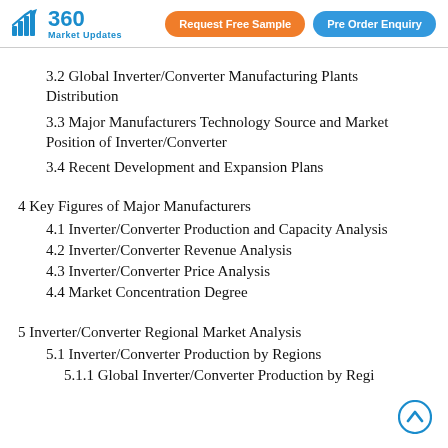360 Market Updates | Request Free Sample | Pre Order Enquiry
3.2 Global Inverter/Converter Manufacturing Plants Distribution
3.3 Major Manufacturers Technology Source and Market Position of Inverter/Converter
3.4 Recent Development and Expansion Plans
4 Key Figures of Major Manufacturers
4.1 Inverter/Converter Production and Capacity Analysis
4.2 Inverter/Converter Revenue Analysis
4.3 Inverter/Converter Price Analysis
4.4 Market Concentration Degree
5 Inverter/Converter Regional Market Analysis
5.1 Inverter/Converter Production by Regions
5.1.1 Global Inverter/Converter Production by Regions